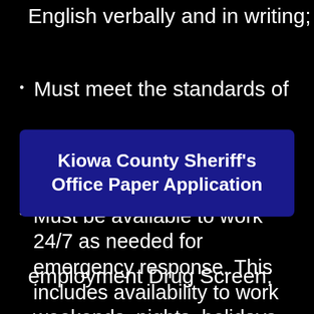English verbally and in writing;
Must meet the standards of
[Figure (other): Blue rounded rectangle overlay banner with text: Kiowa County Sheriff's Office Paper Application]
employment Drug Screen;
Must be available to work 24/7 as needed for emergency response. This includes availability to work weekends, nights, holidays, and rotating shifts, and work in all weather conditions;